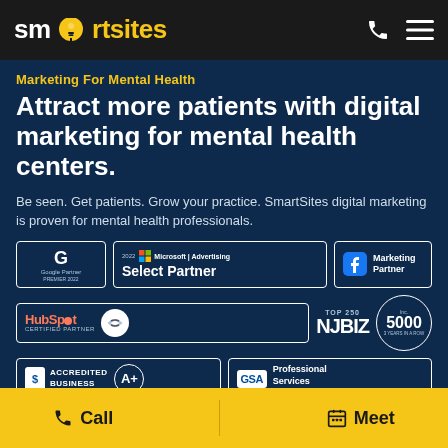SmartSites logo and navigation bar
Marketing For Mental Health
Attract more patients with digital marketing for mental health centers.
Be seen. Get patients. Grow your practice. SmartSites digital marketing is proven for mental health professionals.
[Figure (logo): Google Partner Premier 2022 badge]
[Figure (logo): Microsoft Advertising 2022 Select Partner badge]
[Figure (logo): Facebook Marketing Partner badge]
[Figure (logo): HubSpot Certified Partner badge]
[Figure (logo): NJBIZ Top 250 badge]
[Figure (logo): Inc. 5000 badge]
[Figure (logo): BBB Accredited Business A+ badge]
[Figure (logo): GSA Professional Services badge]
Call | Meet